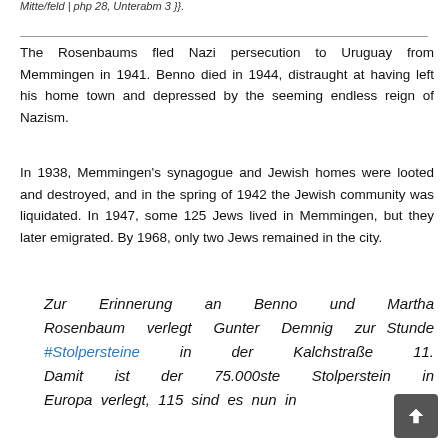The Rosenbaums fled Nazi persecution to Uruguay from Memmingen in 1941. Benno died in 1944, distraught at having left his home town and depressed by the seeming endless reign of Nazism.
In 1938, Memmingen's synagogue and Jewish homes were looted and destroyed, and in the spring of 1942 the Jewish community was liquidated. In 1947, some 125 Jews lived in Memmingen, but they later emigrated. By 1968, only two Jews remained in the city.
Zur Erinnerung an Benno und Martha Rosenbaum verlegt Gunter Demnig zur Stunde #Stolpersteine in der Kalchstraße 11. Damit ist der 75.000ste Stolperstein in Europa verlegt, 115 sind es nun in